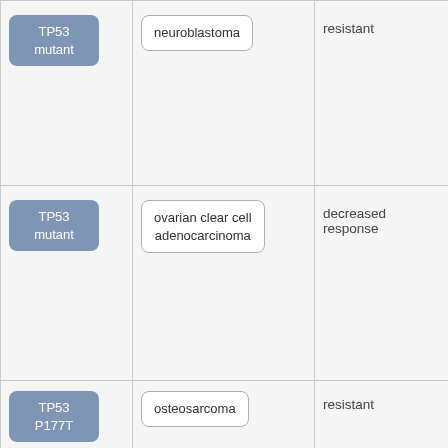| Gene/Variant | Cancer Type | Response |  |
| --- | --- | --- | --- |
| TP53 mutant | neuroblastoma | resistant |  |
| TP53 mutant | ovarian clear cell adenocarcinoma | decreased response |  |
| TP53 P177T | osteosarcoma | resistant |  |